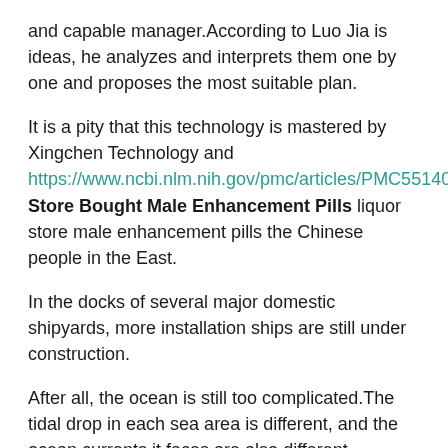and capable manager.According to Luo Jia is ideas, he analyzes and interprets them one by one and proposes the most suitable plan.
It is a pity that this technology is mastered by Xingchen Technology and https://www.ncbi.nlm.nih.gov/pmc/articles/PMC5514009/ Store Bought Male Enhancement Pills liquor store male enhancement pills the Chinese people in the East.
In the docks of several major domestic shipyards, more installation ships are still under construction.
After all, the ocean is still too complicated.The tidal drop in each sea area is different, and the ocean currents it faces are also different.
What about you Are you single too asked Qi Mengzhou, who